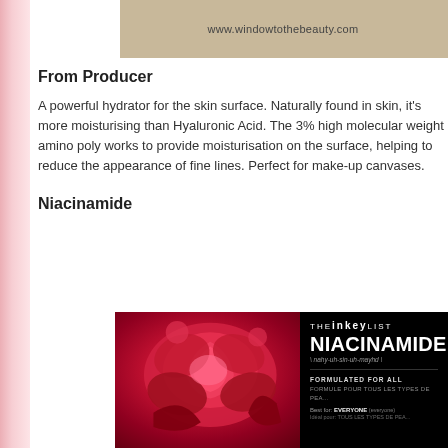www.windowtothebeauty.com
From Producer
A powerful hydrator for the skin surface. Naturally found in skin, it's more moisturising than Hyaluronic Acid. The 3% high molecular weight amino poly works to provide moisturisation on the surface, helping to reduce the appearance of fine lines. Perfect for make-up canvases.
Niacinamide
[Figure (photo): Photo of red roses alongside The Inkey List Niacinamide product box with black packaging showing brand name, product name NIACINAMIDE with pronunciation, and text FORMULATED FOR ALL, Best for EVERYONE]